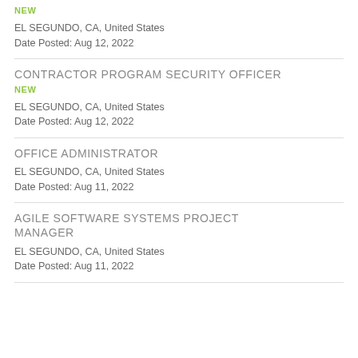NEW
EL SEGUNDO, CA, United States
Date Posted: Aug 12, 2022
CONTRACTOR PROGRAM SECURITY OFFICER
NEW
EL SEGUNDO, CA, United States
Date Posted: Aug 12, 2022
OFFICE ADMINISTRATOR
EL SEGUNDO, CA, United States
Date Posted: Aug 11, 2022
AGILE SOFTWARE SYSTEMS PROJECT MANAGER
EL SEGUNDO, CA, United States
Date Posted: Aug 11, 2022